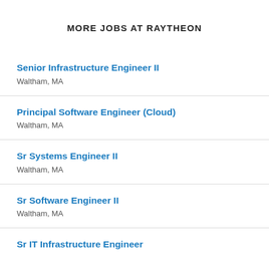MORE JOBS AT RAYTHEON
Senior Infrastructure Engineer II
Waltham, MA
Principal Software Engineer (Cloud)
Waltham, MA
Sr Systems Engineer II
Waltham, MA
Sr Software Engineer II
Waltham, MA
Sr IT Infrastructure Engineer